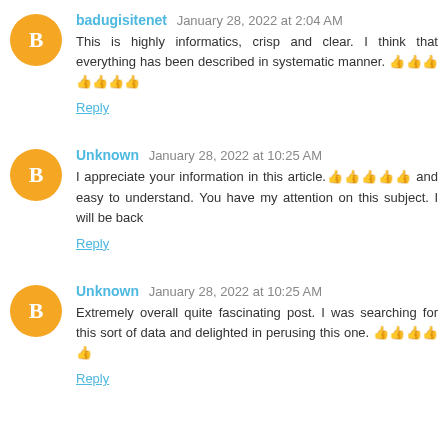badugisitenet January 28, 2022 at 2:04 AM
This is highly informatics, crisp and clear. I think that everything has been described in systematic manner. 👍👍👍👍👍👍👍
Reply
Unknown January 28, 2022 at 10:25 AM
I appreciate your information in this article.👍👍👍👍👍 and easy to understand. You have my attention on this subject. I will be back
Reply
Unknown January 28, 2022 at 10:25 AM
Extremely overall quite fascinating post. I was searching for this sort of data and delighted in perusing this one. 👍👍👍👍👍
Reply